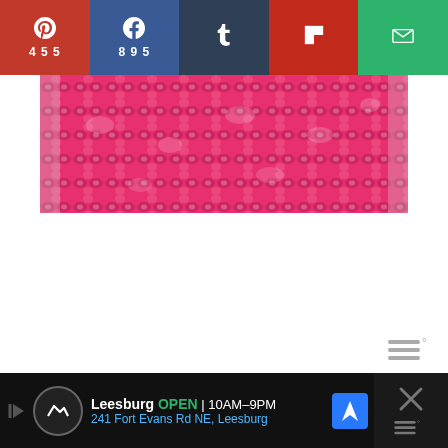[Figure (screenshot): Social share bar with Pinterest (455), Facebook (895), Tumblr, Flipboard, and Email buttons]
[Figure (photo): Close-up photo of pink and white crocheted fabric texture]
[Figure (screenshot): Local ad bar for a Leesburg store: OPEN 10AM-9PM, 241 Fort Evans Rd NE, Leesburg]
[Figure (logo): Watermark logo in bottom right, grey triple bar icon with degree symbol]